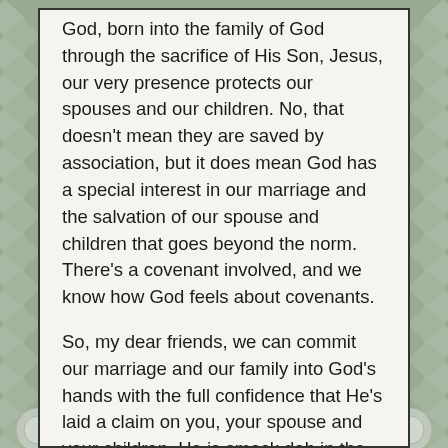God, born into the family of God through the sacrifice of His Son, Jesus, our very presence protects our spouses and our children. No, that doesn't mean they are saved by association, but it does mean God has a special interest in our marriage and the salvation of our spouse and children that goes beyond the norm. There's a covenant involved, and we know how God feels about covenants.
So, my dear friends, we can commit our marriage and our family into God's hands with the full confidence that He's laid a claim on you, your spouse and your children. He is smack dab in the middle working. On those days that you wonder and doubt, remember this commitment and profess God's truth—you belong to Him and through you, God has sanctified all those under